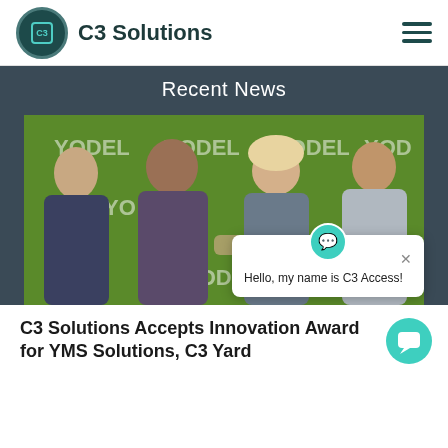[Figure (logo): C3 Solutions logo with circular emblem and company name]
Recent News
[Figure (photo): Four people standing in front of a green YODEL branded backdrop. A chat popup overlay reads 'Hello, my name is C3 Access!']
C3 Solutions Accepts Innovation Award for YMS Solutions, C3 Yard